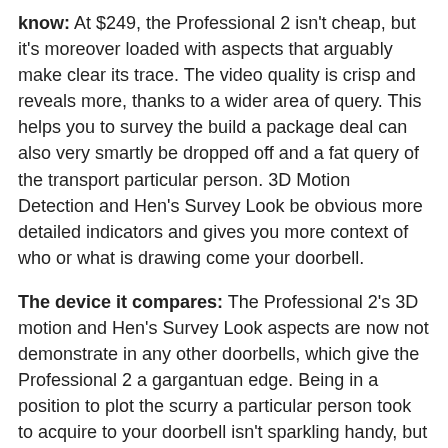know: At $249, the Professional 2 isn't cheap, but it's moreover loaded with aspects that arguably make clear its trace. The video quality is crisp and reveals more, thanks to a wider area of query. This helps you to survey the build a package deal can also very smartly be dropped off and a fat query of the transport particular person. 3D Motion Detection and Hen's Survey Look be obvious more detailed indicators and gives you more context of who or what is drawing come your doorbell.
The device it compares: The Professional 2's 3D motion and Hen's Survey Look aspects are now not demonstrate in any other doorbells, which give the Professional 2 a gargantuan edge. Being in a position to plot the scurry a particular person took to acquire to your doorbell isn't sparkling handy, but it is going to moreover provide peace of tips. The fish-note query makes it easy to survey everything and everyone finish to your door and is, again, one thing that other Ring doorbells, alongside with competing doorbells cherish the Nest Hi there, can not match, as they don't have the wider lens. Diverse the Professional 2's core aspects are enabled by new